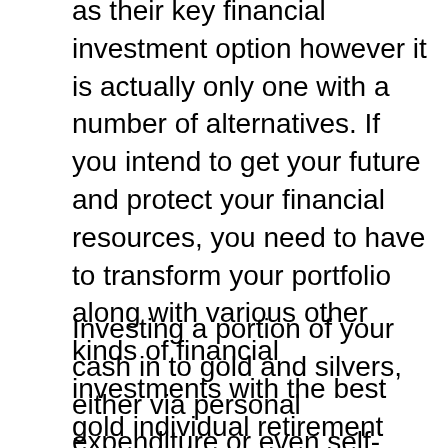as their key financial investment option however it is actually only one with a number of alternatives. If you intend to get your future and protect your financial resources, you need to have to transform your portfolio along with various other kinds of financial investments with the best gold individual retirement account firms. Precious metals like gold and silver supply an alternative chance.
Investing a portion of your cash in to gold and silvers, either via personal expenditure or even self-reliant IRA, permits you to spread out your expenditures and also create them much more steady in the event that the stock exchange crashes. On the occasion that the stock exchange crashes, that